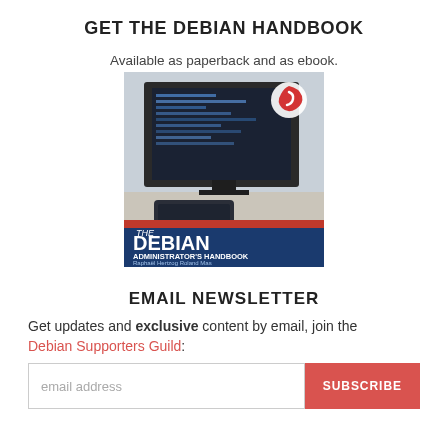GET THE DEBIAN HANDBOOK
Available as paperback and as ebook.
[Figure (photo): Cover of The Debian Administrator's Handbook by Raphaël Hertzog and Roland Mas, showing a photo of a computer setup with a monitor displaying code, and a blue band at the bottom with the book title and author names in white text.]
EMAIL NEWSLETTER
Get updates and exclusive content by email, join the Debian Supporters Guild:
email address [input field] SUBSCRIBE [button]